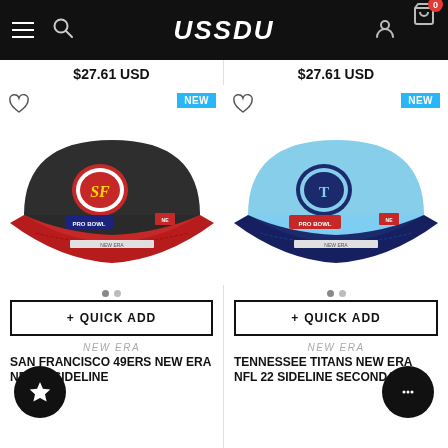USSDU
$27.61 USD
$27.61 USD
[Figure (photo): San Francisco 49ers NFL New Era cap — dark olive/black crown with red brim, 49ers logo and Pro Bowl patch on front, New Era flag logo on side]
[Figure (photo): Tennessee Titans New Era cap — light blue crown with navy brim, Titans Pro Bowl logo on front, New Era flag logo on side]
+ QUICK ADD
+ QUICK ADD
NEW ERA
NEW ERA
SAN FRANCISCO 49ERS NEW ERA NFL 22 SIDELINE
TENNESSEE TITANS NEW ERA NFL 22 SIDELINE SECONDARY